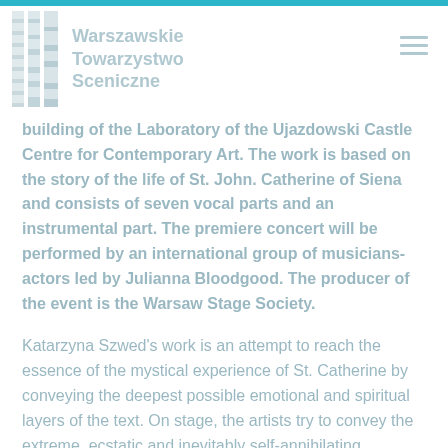Warszawskie Towarzystwo Sceniczne
building of the Laboratory of the Ujazdowski Castle Centre for Contemporary Art. The work is based on the story of the life of St. John. Catherine of Siena and consists of seven vocal parts and an instrumental part. The premiere concert will be performed by an international group of musicians-actors led by Julianna Bloodgood. The producer of the event is the Warsaw Stage Society.
Katarzyna Szwed's work is an attempt to reach the essence of the mystical experience of St. Catherine by conveying the deepest possible emotional and spiritual layers of the text. On stage, the artists try to convey the extreme, ecstatic and inevitably self-annihilating character of the main character's mysticism. On the musical basis, this will manifes…